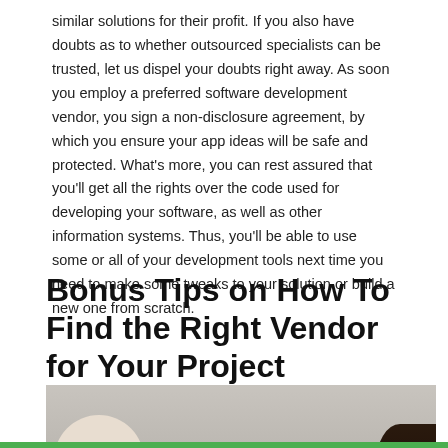similar solutions for their profit. If you also have doubts as to whether outsourced specialists can be trusted, let us dispel your doubts right away. As soon you employ a preferred software development vendor, you sign a non-disclosure agreement, by which you ensure your app ideas will be safe and protected. What's more, you can rest assured that you'll get all the rights over the code used for developing your software, as well as other information systems. Thus, you'll be able to use some or all of your development tools next time you need to make some tweaks to your solution or build a new one from scratch.
Bonus Tips on How To Find the Right Vendor for Your Project
[Figure (photo): Overhead view of people sitting around a wooden table with laptops, phones, notebooks and coffee cups, in a business meeting or collaboration setting.]